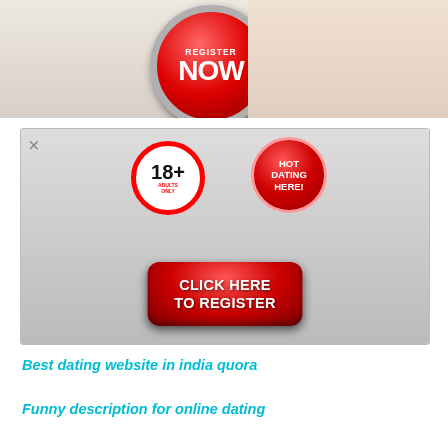[Figure (other): Adult dating advertisement banner at top with red REGISTER NOW button and partial figure on right]
[Figure (other): Adult dating popup advertisement showing three women, 18+ adults only badge, HOT DATING HERE badge, and red CLICK HERE TO REGISTER button with X close button]
Best dating website in india quora
Funny description for online dating